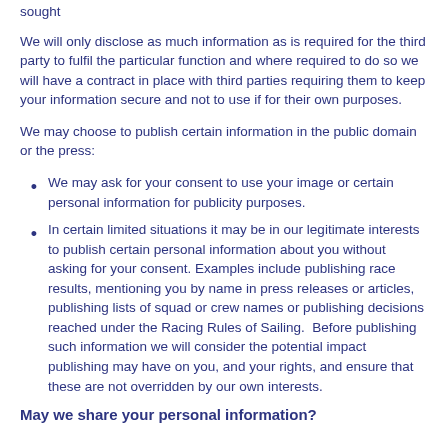sought
We will only disclose as much information as is required for the third party to fulfil the particular function and where required to do so we will have a contract in place with third parties requiring them to keep your information secure and not to use if for their own purposes.
We may choose to publish certain information in the public domain or the press:
We may ask for your consent to use your image or certain personal information for publicity purposes.
In certain limited situations it may be in our legitimate interests to publish certain personal information about you without asking for your consent. Examples include publishing race results, mentioning you by name in press releases or articles, publishing lists of squad or crew names or publishing decisions reached under the Racing Rules of Sailing.  Before publishing such information we will consider the potential impact publishing may have on you, and your rights, and ensure that these are not overridden by our own interests.
May we share your personal information?